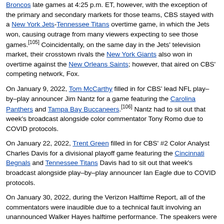Broncos late games at 4:25 p.m. ET, however, with the exception of the primary and secondary markets for those teams, CBS stayed with a New York Jets-Tennessee Titans overtime game, in which the Jets won, causing outrage from many viewers expecting to see those games.[105] Coincidentally, on the same day in the Jets' television market, their crosstown rivals the New York Giants also won in overtime against the New Orleans Saints; however, that aired on CBS' competing network, Fox.
On January 9, 2022, Tom McCarthy filled in for CBS' lead NFL play-by-play announcer Jim Nantz for a game featuring the Carolina Panthers and Tampa Bay Buccaneers.[106] Nantz had to sit out that week's broadcast alongside color commentator Tony Romo due to COVID protocols.
On January 22, 2022, Trent Green filled in for CBS' #2 Color Analyst Charles Davis for a divisional playoff game featuring the Cincinnati Begnals and Tennessee Titans Davis had to sit out that week's broadcast alongside play-by-play announcer Ian Eagle due to COVID protocols.
On January 30, 2022, during the Verizon Halftime Report, all of the commentators were inaudible due to a technical fault involving an unannounced Walker Hayes halftime performance. The speakers were unnoticeably placed in front of the CBS set.